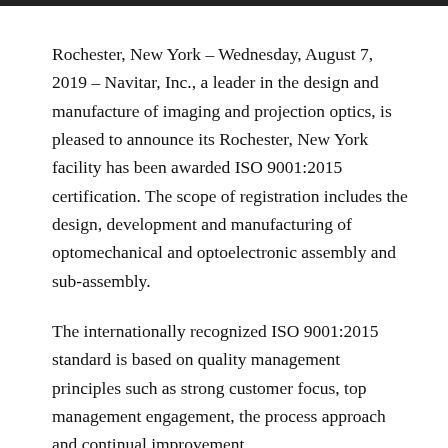Rochester, New York – Wednesday, August 7, 2019 – Navitar, Inc., a leader in the design and manufacture of imaging and projection optics, is pleased to announce its Rochester, New York facility has been awarded ISO 9001:2015 certification. The scope of registration includes the design, development and manufacturing of optomechanical and optoelectronic assembly and sub-assembly.
The internationally recognized ISO 9001:2015 standard is based on quality management principles such as strong customer focus, top management engagement, the process approach and continual improvement.